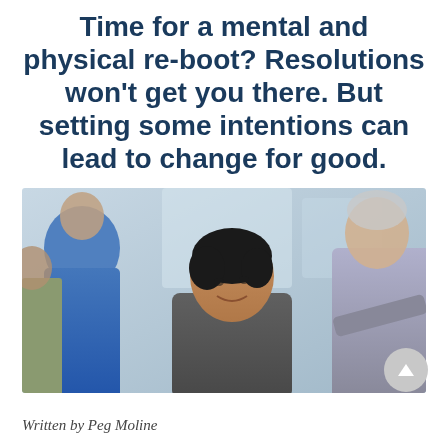Time for a mental and physical re-boot? Resolutions won't get you there. But setting some intentions can lead to change for good.
[Figure (photo): A smiling middle-aged Asian woman looking upward, surrounded by other people in a group setting, suggestive of a wellness or fitness class environment.]
Written by Peg Moline